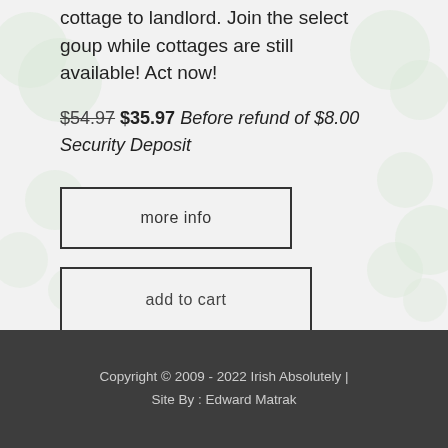cottage to landlord. Join the select goup while cottages are still available! Act now!
$54.97 $35.97 Before refund of $8.00 Security Deposit
more info
add to cart
Copyright © 2009 - 2022 Irish Absolutely | Site By : Edward Matrak